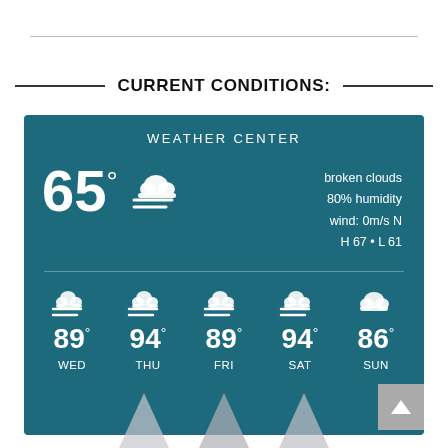CURRENT CONDITIONS:
[Figure (infographic): Weather center widget showing current conditions: 65° broken clouds, 80% humidity, wind 0m/s N, H 67 L 61. 5-day forecast: WED 89°, THU 94°, FRI 89°, SAT 94°, SUN 86°. All days show windy/cloudy icons.]